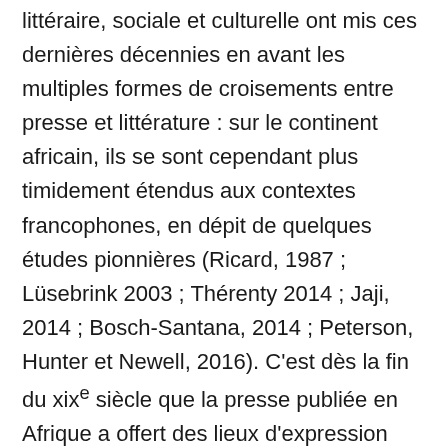littéraire, sociale et culturelle ont mis ces dernières décennies en avant les multiples formes de croisements entre presse et littérature : sur le continent africain, ils se sont cependant plus timidement étendus aux contextes francophones, en dépit de quelques études pionnières (Ricard, 1987 ; Lüsebrink 2003 ; Thérenty 2014 ; Jaji, 2014 ; Bosch-Santana, 2014 ; Peterson, Hunter et Newell, 2016). C'est dès la fin du xixe siècle que la presse publiée en Afrique a offert des lieux d'expression aux écrivain·e·s, importants en quantité, et souvent cruciaux au niveau de leur contenu et de leur réception, comme l'a notamment montré Hans-Jürgen Lüsebrink dans un ouvrage invitant à reconsidérer l'histoire littéraire africaine traditionnelle, en élargissant le corpus canonique de langue française. Stephanie Newell a théorisé ailleurs la souplesse et la créativité du travail des auteur·e·s et de leurs publics dans la presse produite en Afrique occidentale britannique entre